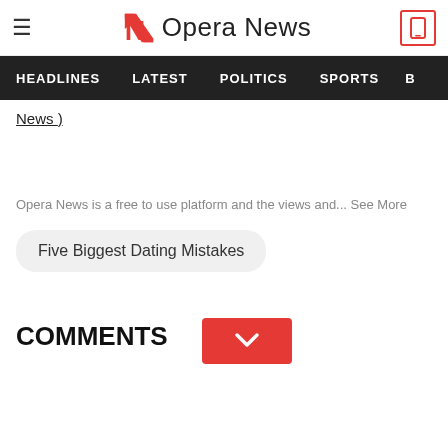Opera News - HEADLINES | LATEST | POLITICS | SPORTS
News )
Opera News is a free to use platform and the views and... See More
Five Biggest Dating Mistakes
COMMENTS